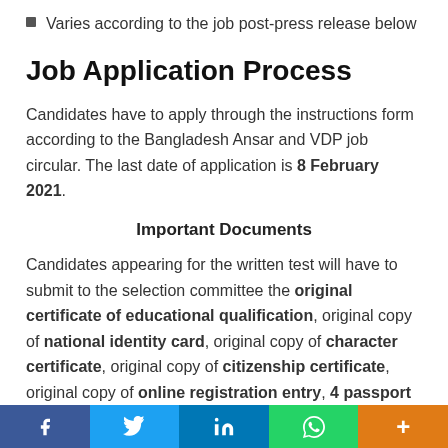Varies according to the job post-press release below
Job Application Process
Candidates have to apply through the instructions form according to the Bangladesh Ansar and VDP job circular. The last date of application is 8 February 2021.
Important Documents
Candidates appearing for the written test will have to submit to the selection committee the original certificate of educational qualification, original copy of national identity card, original copy of character certificate, original copy of citizenship certificate, original copy of online registration entry, 4 passport size attested color photographs and other required documents mentioned in the notification.
f  [twitter]  in  [whatsapp]  +